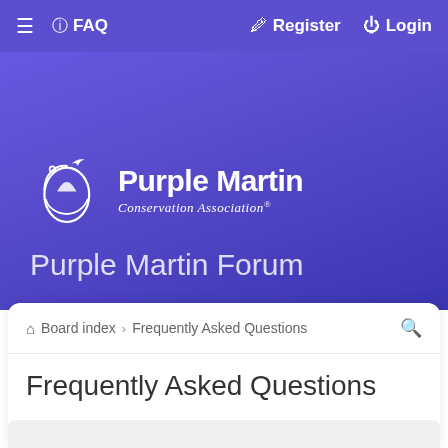≡  FAQ    Register  Login
[Figure (logo): Purple Martin Conservation Association logo — white bird and teardrop shape with swirl, text 'Purple Martin Conservation Association']
Purple Martin Forum
Board index › Frequently Asked Questions
Frequently Asked Questions